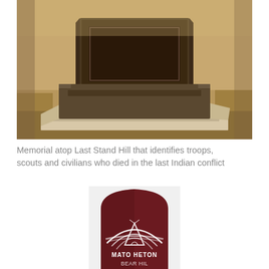[Figure (photo): Sepia-toned photograph of a granite memorial monument atop Last Stand Hill. The monument has a large rectangular dark granite base and an upright slab with a recessed panel. It sits on rough stone footings on the ground.]
Memorial atop Last Stand Hill that identifies troops, scouts and civilians who died in the last Indian conflict
[Figure (photo): Color photograph of a dark reddish-maroon rounded granite grave marker with a white engraved image of mountains or hills with a teepee and the text 'MATO HETON' visible, with more text below partially cut off.]